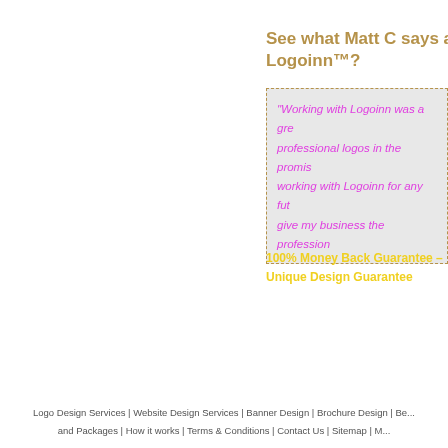See what Matt C says about Logoinn™?
"Working with Logoinn was a great experience, professional logos in the promised time, working with Logoinn for any future projects give my business the professional...
100% Money Back Guarantee – Unique Design Guarantee
Logo Design Services | Website Design Services | Banner Design | Brochure Design | Be... and Packages | How it works | Terms & Conditions | Contact Us | Sitemap | M...